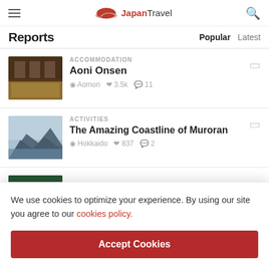Japan Travel
Reports  Popular  Latest
ACCOMMODATION — Aoni Onsen — Aomori 3.5k 11
ACTIVITIES — The Amazing Coastline of Muroran — Hokkaido 837 2
[Figure (screenshot): Partial waterfall card image]
We use cookies to optimize your experience. By using our site you agree to our cookies policy.
Accept Cookies